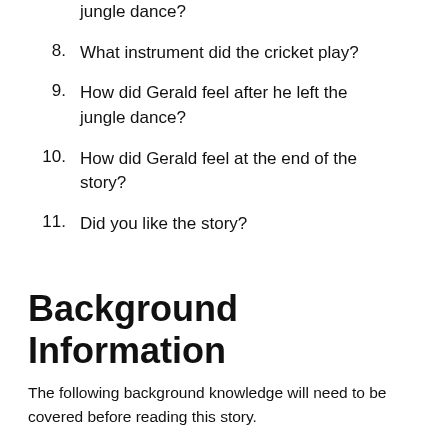jungle dance?
8.   What instrument did the cricket play?
9.   How did Gerald feel after he left the jungle dance?
10.  How did Gerald feel at the end of the story?
11.  Did you like the story?
Background Information
The following background knowledge will need to be covered before reading this story.